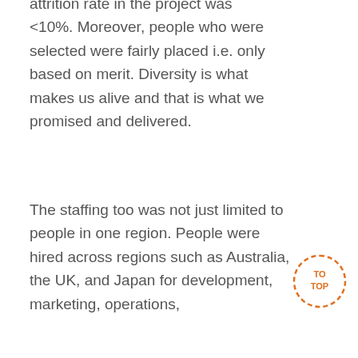attrition rate in the project was <10%. Moreover, people who were selected were fairly placed i.e. only based on merit. Diversity is what makes us alive and that is what we promised and delivered.
The staffing too was not just limited to people in one region. People were hired across regions such as Australia, the UK, and Japan for development, marketing, operations,